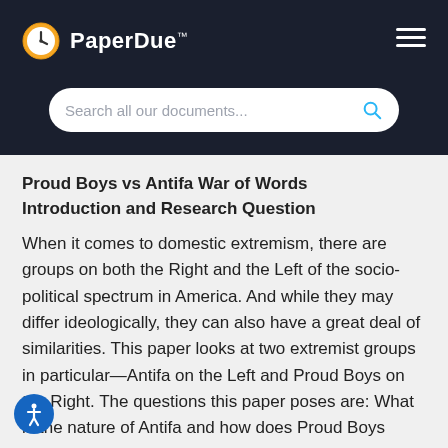PaperDue™
Proud Boys vs Antifa War of Words
Introduction and Research Question
When it comes to domestic extremism, there are groups on both the Right and the Left of the socio-political spectrum in America. And while they may differ ideologically, they can also have a great deal of similarities. This paper looks at two extremist groups in particular—Antifa on the Left and Proud Boys on the Right. The questions this paper poses are: What is the nature of Antifa and how does Proud Boys mirror the group from the opposite spectrum? How